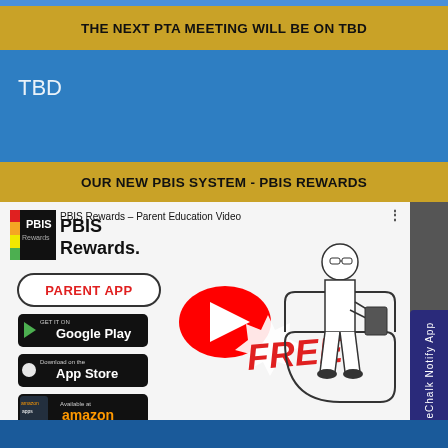THE NEXT PTA MEETING WILL BE ON TBD
TBD
OUR NEW PBIS SYSTEM - PBIS REWARDS
[Figure (screenshot): YouTube video thumbnail for 'PBIS Rewards - Parent Education Video' showing the PBIS Rewards logo, a PARENT APP pill button, Google Play / App Store / Amazon download badges, a red YouTube play button, FREE text in red italic, and a line-drawing illustration of a person sitting in a chair reading a tablet. The video is free to download.]
eChalk Notify App